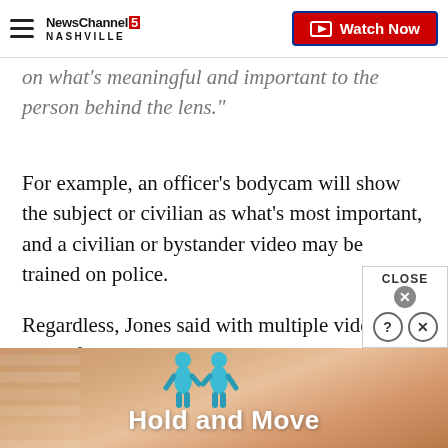NewsChannel 5 NASHVILLE | Watch Now
on what's meaningful and important to the person behind the lens."
For example, an officer’s bodycam will show the subject or civilian as what’s most important, and a civilian or bystander video may be trained on police.
Regardless, Jones said with multiple videos, a powerful narrative can be told, and so it is valuable to collect this data to begin to hold those in power accountable.
[Figure (screenshot): Advertisement banner at the bottom of the page with two teal 3D figures and text 'Hold and Move' on a warm tan/orange background. A CLOSE button with X and help/close icons appears above the banner.]